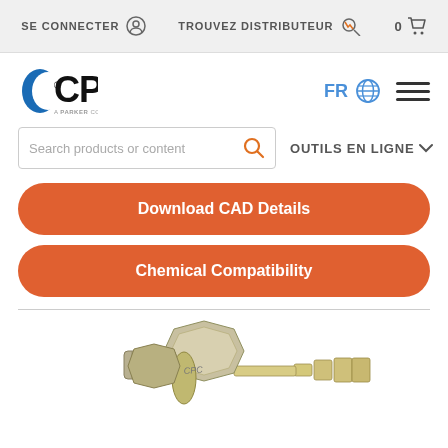SE CONNECTER   TROUVEZ DISTRIBUTEUR   0
[Figure (logo): CPC logo — crescent moon shape in blue with CPC text, a Berner company]
FR  [globe icon]  [hamburger menu]
Search products or content  [search icon]  OUTILS EN LIGNE v
Download CAD Details
Chemical Compatibility
[Figure (engineering-diagram): 3D CAD rendering of a barbed bulkhead fitting / hose barb connector in metallic brass/silver tones showing threaded body with hex nut and barbed hose tail]